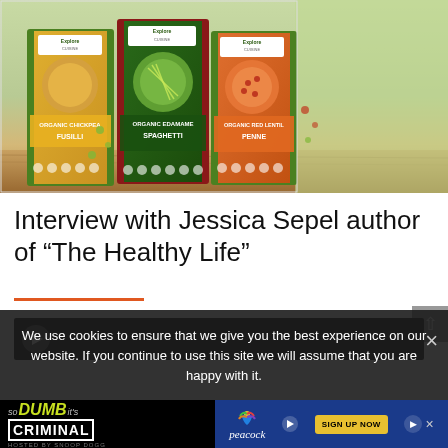[Figure (photo): Three Explore Cuisine pasta product boxes displayed on a wooden surface: Organic Chickpea Fusilli (yellow/green box), Organic Edamame Spaghetti (dark green/red box), and Organic Red Lentil Penne (orange/green box). Each box features product photography with pasta and legumes.]
Interview with Jessica Sepel author of “The Healthy Life”
[Figure (screenshot): Partially visible video player with dark background, beginning to show a video thumbnail.]
We use cookies to ensure that we give you the best experience on our website. If you continue to use this site we will assume that you are happy with it.
[Figure (screenshot): Advertisement banner for Peacock streaming service promoting 'So Dumb It's Criminal' hosted by Snoop Dogg, with a 'Sign Up Now' button.]